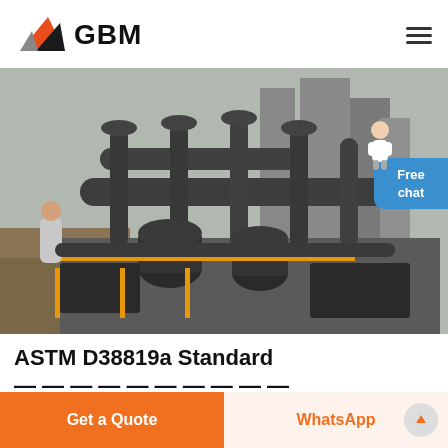GBM
[Figure (photo): Industrial grinding/milling plant machinery with large black metal pipes, cyclones, and processing equipment outdoors. Workers visible on left side. Industrial buildings in background.]
ASTM D38819a Standard
(partial text cut off at bottom)
Get a Quote
WhatsApp